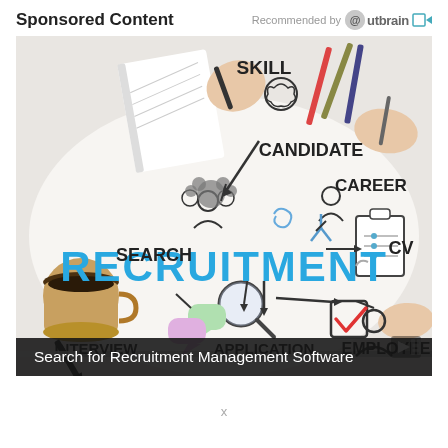Sponsored Content
Recommended by Outbrain
[Figure (illustration): Recruitment concept illustration showing the word RECRUITMENT in large blue letters at the center of a whiteboard-style diagram. Surrounding it are hand-drawn icons and labels: SKILL (with brain icon), CANDIDATE (with group icon), CAREER (with person icon), CV (with clipboard), EMPLOYEE (with figure icon), APPLICATION (with checkmark), INTERVIEW (with speech bubbles), SEARCH (with magnifying glass). Real-world objects visible: coffee cup, pencils, notebook, hands writing.]
Search for Recruitment Management Software
x